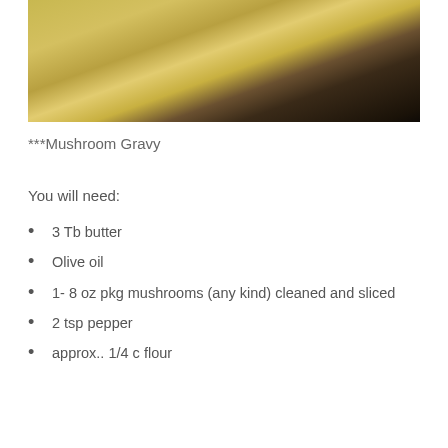[Figure (photo): A slice of food (possibly a quiche or savory pie) on a dark plate, photographed from above, showing a golden-brown top with dark filling visible.]
***Mushroom Gravy
You will need:
3 Tb butter
Olive oil
1- 8 oz pkg mushrooms (any kind) cleaned and sliced
2 tsp pepper
approx.. 1/4 c flour